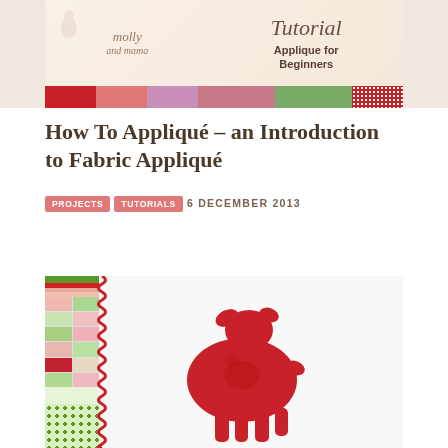[Figure (photo): Molly and Mama blog banner with Tutorial - Applique for Beginners header. Decorative fabric strips at the bottom in red, pink, lavender, and green patterns.]
How To Appliqué – an Introduction to Fabric Appliqué
PROJECTS  TUTORIALS  6 DECEMBER 2013
[Figure (photo): Close-up photo of a white pillow with a red fabric appliqué deer (fawn/bambi shape) sewn onto it. On the left side there are colorful fabric strips and ric-rac trim in red, green, and pink patterns.]